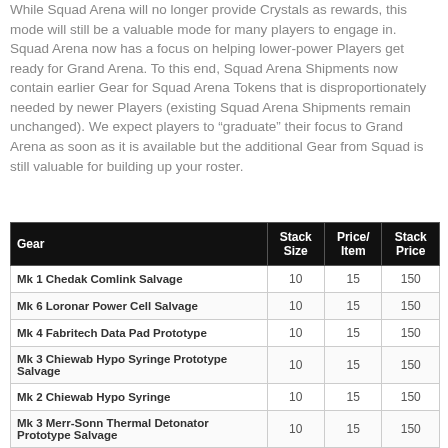While Squad Arena will no longer provide Crystals as rewards, this mode will still be a valuable mode for many players to engage in. Squad Arena now has a focus on helping lower-power Players get ready for Grand Arena. To this end, Squad Arena Shipments now contain earlier Gear for Squad Arena Tokens that is disproportionately needed by newer Players (existing Squad Arena Shipments remain unchanged). We expect players to "graduate" their focus to Grand Arena as soon as it is available but the additional Gear from Squad is still valuable for building up your roster.
| Gear | Stack Size | Price/ Item | Stack Price |
| --- | --- | --- | --- |
| Mk 1 Chedak Comlink Salvage | 10 | 15 | 150 |
| Mk 6 Loronar Power Cell Salvage | 10 | 15 | 150 |
| Mk 4 Fabritech Data Pad Prototype | 10 | 15 | 150 |
| Mk 3 Chiewab Hypo Syringe Prototype Salvage | 10 | 15 | 150 |
| Mk 2 Chiewab Hypo Syringe | 10 | 15 | 150 |
| Mk 3 Merr-Sonn Thermal Detonator Prototype Salvage | 10 | 15 | 150 |
| Mk 5 BAW Armor Mod Salvage | 10 | 15 | 150 |